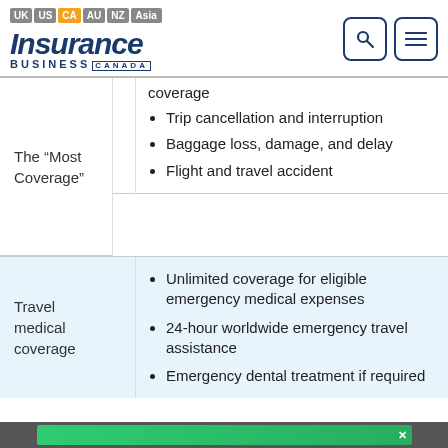[Figure (logo): Insurance Business Canada logo with UK, US, CA (active/orange), AU, NZ, Asia navigation tabs and search/menu icons]
| Plan Type | Coverage Details |
| --- | --- |
| The “Most Coverage” | coverage
• Trip cancellation and interruption
• Baggage loss, damage, and delay
• Flight and travel accident |
| Travel medical coverage | • Unlimited coverage for eligible emergency medical expenses
• 24-hour worldwide emergency travel assistance
• Emergency dental treatment if required |